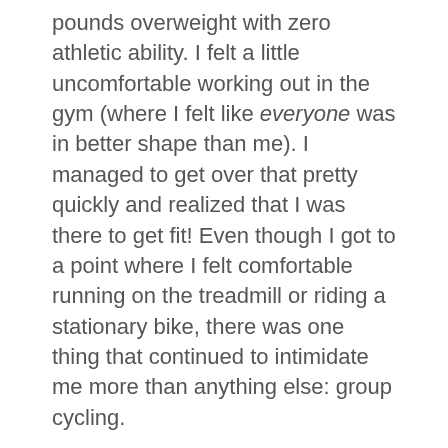pounds overweight with zero athletic ability. I felt a little uncomfortable working out in the gym (where I felt like everyone was in better shape than me). I managed to get over that pretty quickly and realized that I was there to get fit! Even though I got to a point where I felt comfortable running on the treadmill or riding a stationary bike, there was one thing that continued to intimidate me more than anything else: group cycling.
I could hear the classes going on while I was pounding away on a cardio machine and I'd see the people come out at the end covered in sweat. I was convinced that group cycling classes were for super fit, super thin folks only and that I had no place there. And then one day, I got the courage to take a class – and I loved it! It was definitely challenging and tough, but I made it. Taking group cycling classes not only helped me lose weight and got in shape, but it also made me realize